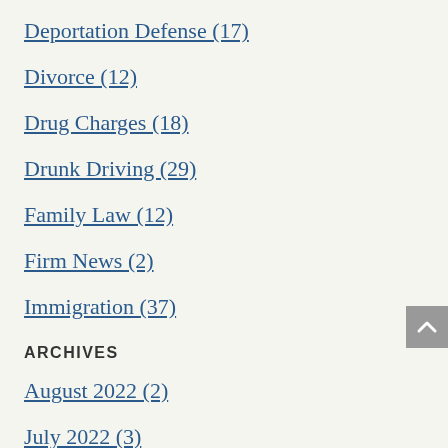Deportation Defense (17)
Divorce (12)
Drug Charges (18)
Drunk Driving (29)
Family Law (12)
Firm News (2)
Immigration (37)
ARCHIVES
August 2022 (2)
July 2022 (3)
June 2022 (2)